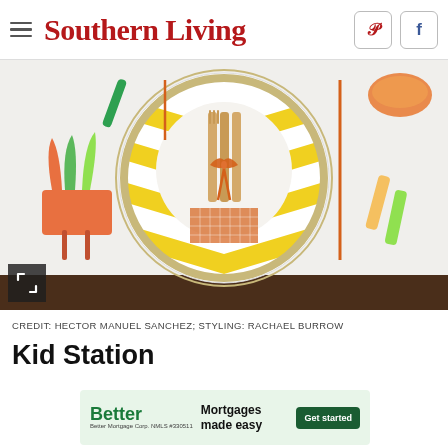Southern Living
[Figure (photo): Overhead view of a Thanksgiving kids table setting with a yellow chevron plate, wooden cutlery tied with an orange ribbon, and a paper turkey craft made from colored paper, on a white tablecloth]
CREDIT: HECTOR MANUEL SANCHEZ; STYLING: RACHAEL BURROW
Kid Station
[Figure (other): Better Mortgage advertisement: Better - Mortgages made easy - Get started]